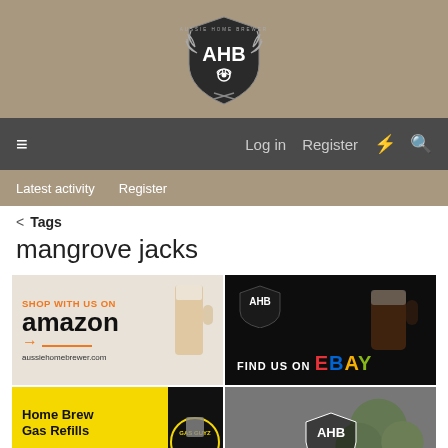[Figure (logo): Aussie Home Brewer AHB shield logo with wheat stalks, white on dark background, centered in tan/beige header]
≡   Log in   Register   ⚡   🔍
Latest activity   Register
< Tags
mangrove jacks
[Figure (advertisement): SHOP WITH US ON amazon aussiehomebrewer.com with beer glass image]
[Figure (advertisement): FIND US ON ebay with AHB logo and beer mug on dark background]
[Figure (advertisement): Home Brew Gas Refills GAS GUYZ Free Home Delivery on yellow and black background]
[Figure (advertisement): AHB logo with hops background - Advertise with us!]